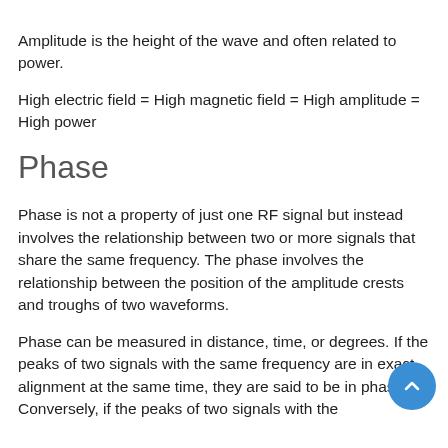Amplitude is the height of the wave and often related to power.
High electric field = High magnetic field = High amplitude = High power
Phase
Phase is not a property of just one RF signal but instead involves the relationship between two or more signals that share the same frequency. The phase involves the relationship between the position of the amplitude crests and troughs of two waveforms.
Phase can be measured in distance, time, or degrees. If the peaks of two signals with the same frequency are in exact alignment at the same time, they are said to be in phase. Conversely, if the peaks of two signals with the